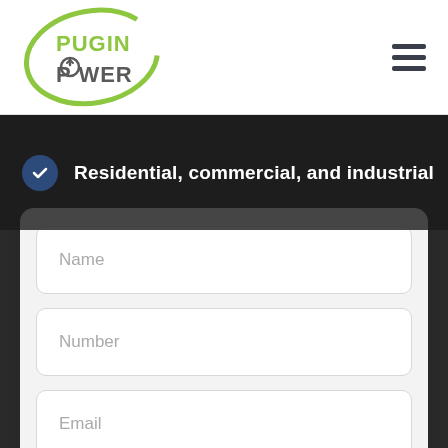[Figure (logo): Pugin Power logo with green oval and lightning bolt icon]
Residential, commercial, and industrial
Name
Number
Email